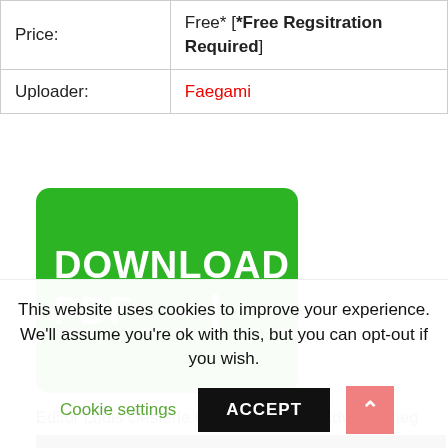| Price: | Free* [*Free Regsitration Required] |
| Uploader: | Faegami |
[Figure (other): Green Download PDF button with arrow pointing right]
Editor Louis Oesterle Compositions by Edvard Grieg.
[Figure (photo): Dark partial photo strip visible behind cookie banner]
This website uses cookies to improve your experience. We'll assume you're ok with this, but you can opt-out if you wish.